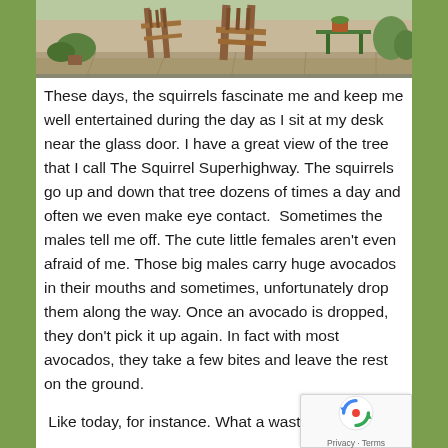[Figure (photo): Outdoor garden/patio scene with wooden furniture, chairs, and a small green table, surrounded by plants and stone pavement]
These days, the squirrels fascinate me and keep me well entertained during the day as I sit at my desk near the glass door. I have a great view of the tree that I call The Squirrel Superhighway. The squirrels go up and down that tree dozens of times a day and often we even make eye contact.  Sometimes the males tell me off. The cute little females aren't even afraid of me. Those big males carry huge avocados in their mouths and sometimes, unfortunately drop them along the way. Once an avocado is dropped, they don't pick it up again. In fact with most avocados, they take a few bites and leave the rest on the ground.
Like today, for instance. What a waste of